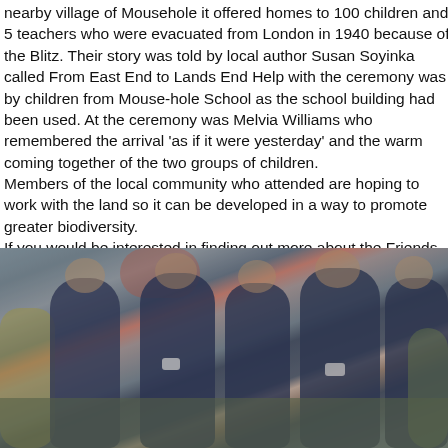nearby village of Mousehole it offered homes to 100 children and 5 teachers who were evacuated from London in 1940 because of the Blitz. Their story was told by local author Susan Soyinka called From East End to Lands End Help with the ceremony was by children from Mouse-hole School as the school building had been used. At the ceremony was Melvia Williams who remembered the arrival 'as if it were yesterday' and the warm coming together of the two groups of children.
Members of the local community who attended are hoping to work with the land so it can be developed in a way to promote greater biodiversity.
If you would be interested in finding out more about the Friends of Paul please contact AndrewYates
[Figure (photo): Blurred group photograph of several people wearing dark navy clothing, standing together outdoors. The image is blurred/out of focus. Background shows muted grey and green tones.]